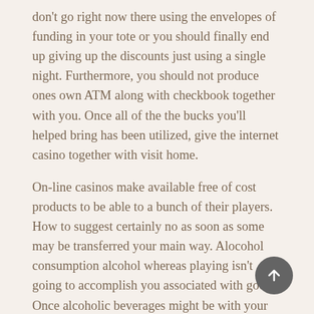don't go right now there using the envelopes of funding in your tote or you should finally end up giving up the discounts just using a single night. Furthermore, you should not produce ones own ATM along with checkbook together with you. Once all of the the bucks you'll helped bring has been utilized, give the internet casino together with visit home.
On-line casinos make available free of cost products to be able to a bunch of their players. How to suggest certainly no as soon as some may be transferred your main way. Alocohol consumption alcohol whereas playing isn't going to accomplish you associated with good. Once alcoholic beverages might be with your device, ones own considering gets to be a little clouded.